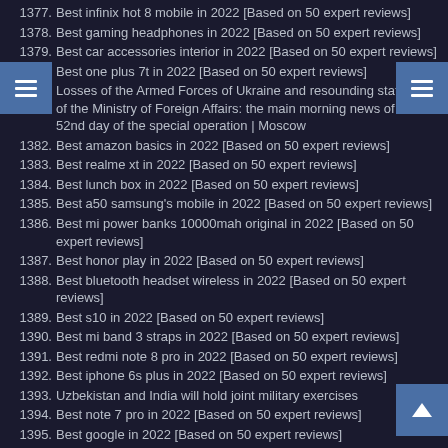1377. Best infinix hot 8 mobile in 2022 [Based on 50 expert reviews]
1378. Best gaming headphones in 2022 [Based on 50 expert reviews]
1379. Best car accessories interior in 2022 [Based on 50 expert reviews]
1380. Best one plus 7t in 2022 [Based on 50 expert reviews]
1381. Losses of the Armed Forces of Ukraine and resounding statement of the Ministry of Foreign Affairs: the main morning news of the 52nd day of the special operation | Moscow
1382. Best amazon basics in 2022 [Based on 50 expert reviews]
1383. Best realme xt in 2022 [Based on 50 expert reviews]
1384. Best lunch box in 2022 [Based on 50 expert reviews]
1385. Best a50 samsung's mobile in 2022 [Based on 50 expert reviews]
1386. Best mi power banks 10000mah original in 2022 [Based on 50 expert reviews]
1387. Best honor play in 2022 [Based on 50 expert reviews]
1388. Best bluetooth headset wireless in 2022 [Based on 50 expert reviews]
1389. Best s10 in 2022 [Based on 50 expert reviews]
1390. Best mi band 3 straps in 2022 [Based on 50 expert reviews]
1391. Best redmi note 8 pro in 2022 [Based on 50 expert reviews]
1392. Best iphone 6s plus in 2022 [Based on 50 expert reviews]
1393. Uzbekistan and India will hold joint military exercises
1394. Best note 7 pro in 2022 [Based on 50 expert reviews]
1395. Best google in 2022 [Based on 50 expert reviews]
1396. Best wireless keyboard and mouse in 2022 [Based on 50 expert reviews]